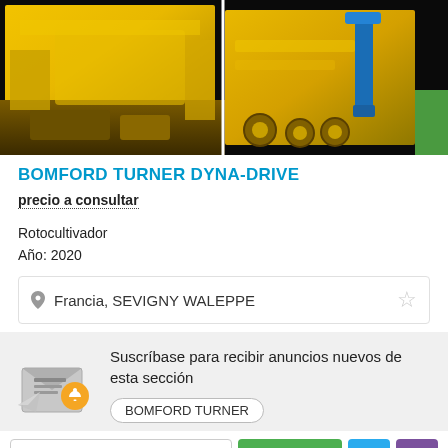[Figure (photo): Two yellow agricultural rotary cultivator machines (Bomford Turner Dyna-Drive) shown from above/side angle. Left image shows yellow body close-up, right image shows the machine with blue hydraulic arm and yellow wheels visible.]
BOMFORD TURNER DYNA-DRIVE
precio a consultar
Rotocultivador
Año: 2020
Francia, SEVIGNY WALEPPE
Suscríbase para recibir anuncios nuevos de esta sección
BOMFORD TURNER
Introduzca su dirección
Suscribirse